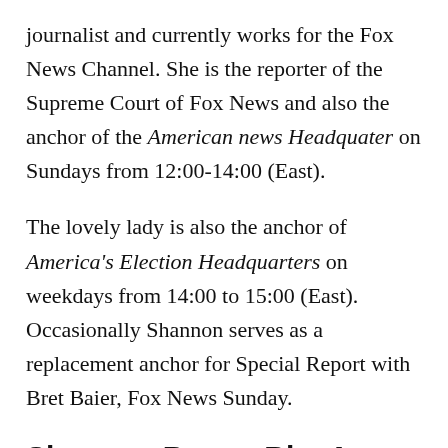journalist and currently works for the Fox News Channel. She is the reporter of the Supreme Court of Fox News and also the anchor of the American news Headquater on Sundays from 12:00-14:00 (East).
The lovely lady is also the anchor of America's Election Headquarters on weekdays from 14:00 to 15:00 (East). Occasionally Shannon serves as a replacement anchor for Special Report with Bret Baier, Fox News Sunday.
Shannon Bream Bio, Age
Shannon Bream, born as Shannon Noelle DePuy, is the only daughter of Marie Norris, a teacher, and Ed